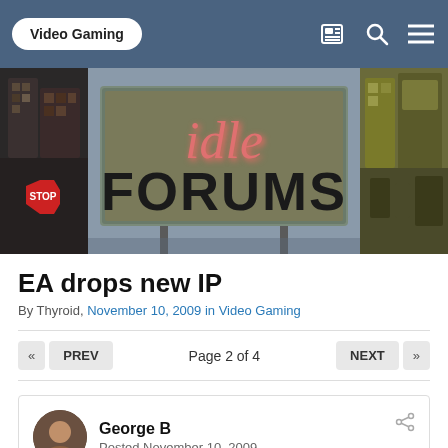Video Gaming
[Figure (illustration): Forum banner image showing 'idle FORUMS' text on a billboard in a stylized city scene with a stop sign on the left and futuristic buildings on the sides]
EA drops new IP
By Thyroid, November 10, 2009 in Video Gaming
Page 2 of 4
George B
Posted November 10, 2009